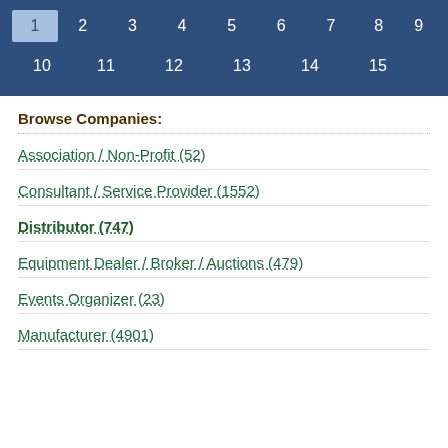[Figure (other): Navigation panel with numbered page links on dark blue background. Row 1: 1 (active/highlighted), 2, 3, 4, 5, 6, 7, 8, 9. Row 2: 10, 11, 12, 13, 14, 15.]
Browse Companies:
Association / Non-Profit (52)
Consultant / Service Provider (1552)
Distributor (747)
Equipment Dealer / Broker / Auctions (479)
Events Organizer (23)
Manufacturer (4901)